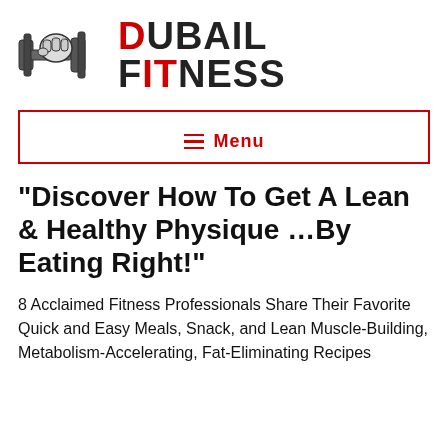[Figure (logo): Dubail Fitness logo with dumbbell illustration and brand name text showing DUBAIL FITNESS with D, I, T in red]
≡ Menu
“Discover How To Get A Lean & Healthy Physique …By Eating Right!”
8 Acclaimed Fitness Professionals Share Their Favorite Quick and Easy Meals, Snack, and Lean Muscle-Building, Metabolism-Accelerating, Fat-Eliminating Recipes